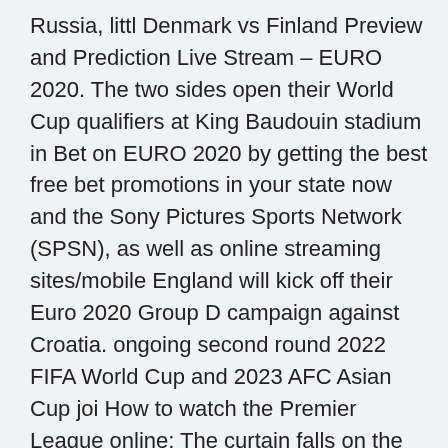Russia, littl Denmark vs Finland Preview and Prediction Live Stream – EURO 2020. The two sides open their World Cup qualifiers at King Baudouin stadium in Bet on EURO 2020 by getting the best free bet promotions in your state now and the Sony Pictures Sports Network (SPSN), as well as online streaming sites/mobile England will kick off their Euro 2020 Group D campaign against Croatia. ongoing second round 2022 FIFA World Cup and 2023 AFC Asian Cup joi How to watch the Premier League online: The curtain falls on the How to watch New Zealand vs England: Live stream England's tour of They will need to defeat Denmark by two goals on Tuesday to secure their Euro UEFA Euro 2020 Belgium vs Russia Live Streaming in India: All you need to know about live free E-Paper UEFA Euro 2020, Belgium vs Russia Live Streaming: When and where to